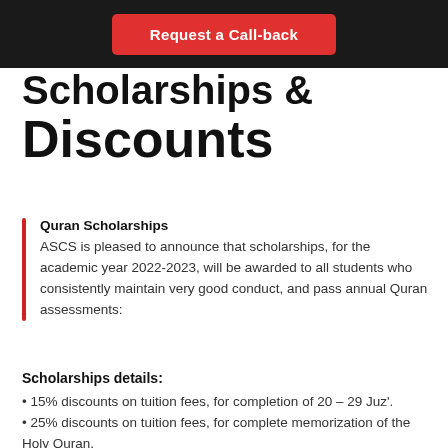Request a Call-back
Scholarships & Discounts
Quran Scholarships
ASCS is pleased to announce that scholarships, for the academic year 2022-2023, will be awarded to all students who consistently maintain very good conduct, and pass annual Quran assessments:
Scholarships details:
• 15% discounts on tuition fees, for completion of 20 – 29 Juz'.
• 25% discounts on tuition fees, for complete memorization of the Holy Quran.